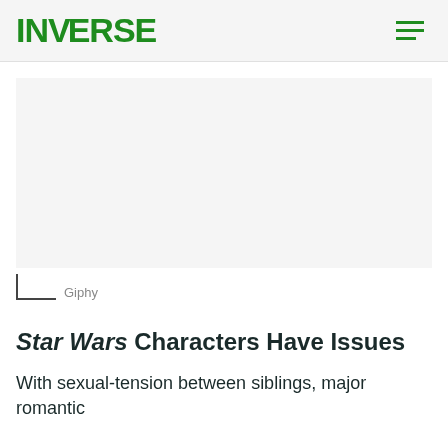INVERSE
[Figure (other): Gray placeholder advertisement block]
Giphy
Star Wars Characters Have Issues
With sexual-tension between siblings, major romantic